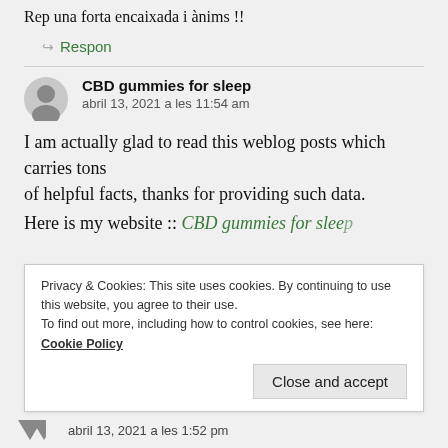Rep una forta encaixada i ànims !!
↪ Respon
CBD gummies for sleep
abril 13, 2021 a les 11:54 am
I am actually glad to read this weblog posts which carries tons of helpful facts, thanks for providing such data.
Here is my website :: CBD gummies for sleep
Privacy & Cookies: This site uses cookies. By continuing to use this website, you agree to their use.
To find out more, including how to control cookies, see here:
Cookie Policy
Close and accept
abril 13, 2021 a les 1:52 pm